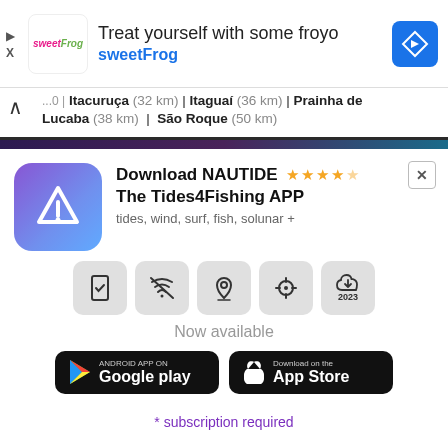[Figure (screenshot): sweetFrog ad banner with logo, text 'Treat yourself with some froyo' and 'sweetFrog', and navigation arrow icon]
Itacuruça (32 km) | Itaguaí (36 km) | Prainha de Lucaba (38 km) | São Roque (50 km)
[Figure (screenshot): NAUTIDE app promo card with app icon, title 'Download NAUTIDE The Tides4Fishing APP', 4.5 star rating, description 'tides, wind, surf, fish, solunar +', feature icons, 'Now available' text, Google Play and App Store download buttons]
* subscription required